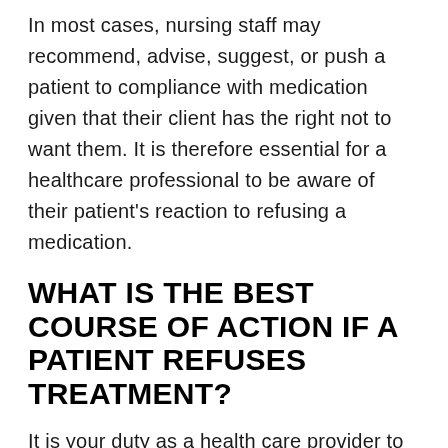In most cases, nursing staff may recommend, advise, suggest, or push a patient to compliance with medication given that their client has the right not to want them. It is therefore essential for a healthcare professional to be aware of their patient's reaction to refusing a medication.
WHAT IS THE BEST COURSE OF ACTION IF A PATIENT REFUSES TREATMENT?
It is your duty as a health care provider to explain to your patients the medical recommendation as